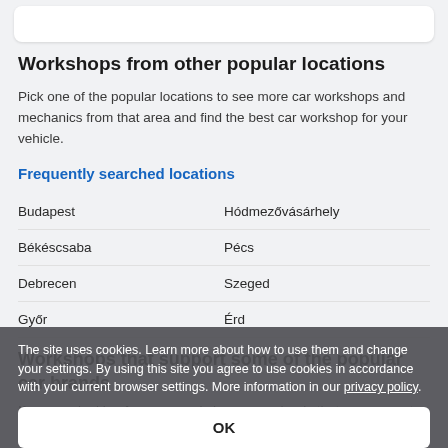Workshops from other popular locations
Pick one of the popular locations to see more car workshops and mechanics from that area and find the best car workshop for your vehicle.
Frequently searched locations
Budapest
Hódmezővásárhely
Békéscsaba
Pécs
Debrecen
Szeged
Győr
Érd
Workshops that support some of the popular car brands
If you are looking for a car workshop or mechanic that can support a specific car brand, pick that brand from the list below and find the
The site uses cookies. Learn more about how to use them and change your settings. By using this site you agree to use cookies in accordance with your current browser settings. More information in our privacy policy.